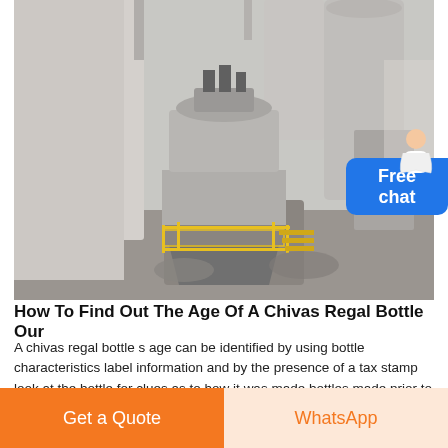[Figure (photo): Industrial vertical roller mill / grinding machine inside a large factory building, viewed from above at an angle. The mill has a cylindrical body with yellow safety railings on a platform, surrounded by concrete silos and dusty floor.]
How To Find Out The Age Of A Chivas Regal Bottle Our
A chivas regal bottle s age can be identified by using bottle characteristics label information and by the presence of a tax stamp look at the bottle for clues as to how it was made bottles made prior to the late 1800s were blown and have a pontil mark a pontil or punty is an iron or steel rod that enables blowers to handle hot glass
Get a Quote
WhatsApp